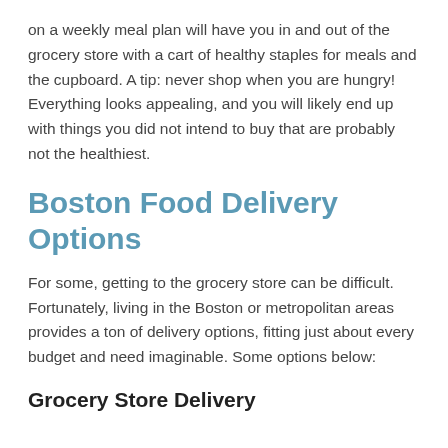on a weekly meal plan will have you in and out of the grocery store with a cart of healthy staples for meals and the cupboard. A tip: never shop when you are hungry! Everything looks appealing, and you will likely end up with things you did not intend to buy that are probably not the healthiest.
Boston Food Delivery Options
For some, getting to the grocery store can be difficult. Fortunately, living in the Boston or metropolitan areas provides a ton of delivery options, fitting just about every budget and need imaginable. Some options below:
Grocery Store Delivery